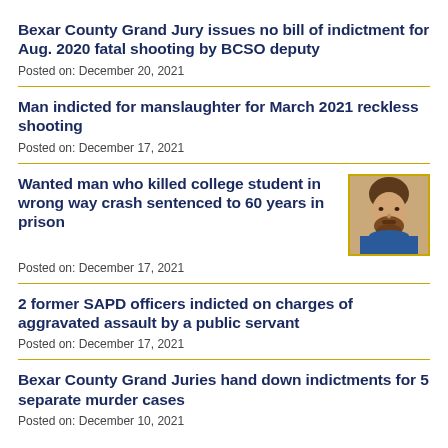Bexar County Grand Jury issues no bill of indictment for Aug. 2020 fatal shooting by BCSO deputy
Posted on: December 20, 2021
Man indicted for manslaughter for March 2021 reckless shooting
Posted on: December 17, 2021
Wanted man who killed college student in wrong way crash sentenced to 60 years in prison
[Figure (photo): Mugshot of a bearded man in a blue shirt, bordered in gold/yellow]
Posted on: December 17, 2021
2 former SAPD officers indicted on charges of aggravated assault by a public servant
Posted on: December 17, 2021
Bexar County Grand Juries hand down indictments for 5 separate murder cases
Posted on: December 10, 2021